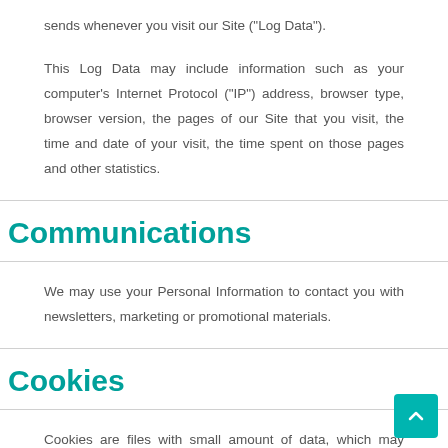sends whenever you visit our Site ("Log Data").
This Log Data may include information such as your computer's Internet Protocol ("IP") address, browser type, browser version, the pages of our Site that you visit, the time and date of your visit, the time spent on those pages and other statistics.
Communications
We may use your Personal Information to contact you with newsletters, marketing or promotional materials.
Cookies
Cookies are files with small amount of data, which may include an